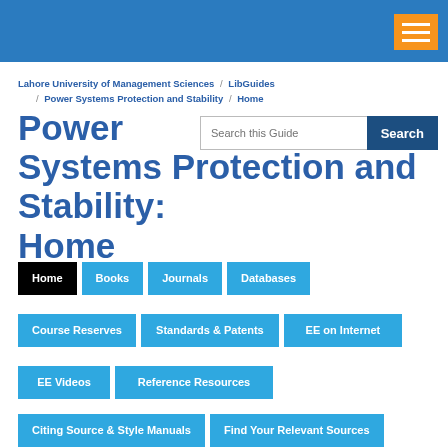[Figure (screenshot): Blue university website header bar with orange hamburger menu button]
Lahore University of Management Sciences / LibGuides / Power Systems Protection and Stability / Home
Power Systems Protection and Stability: Home
Home
Books
Journals
Databases
Course Reserves
Standards & Patents
EE on Internet
EE Videos
Reference Resources
Citing Source & Style Manuals
Find Your Relevant Sources